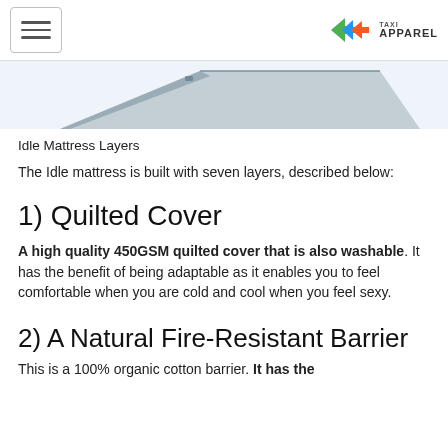Taxi Apparel (logo with hamburger menu)
[Figure (photo): Partial view of an Idle mattress showing layered construction against a light blue background]
Idle Mattress Layers
The Idle mattress is built with seven layers, described below:
1) Quilted Cover
A high quality 450GSM quilted cover that is also washable. It has the benefit of being adaptable as it enables you to feel comfortable when you are cold and cool when you feel sexy.
2) A Natural Fire-Resistant Barrier
This is a 100% organic cotton barrier. It has the